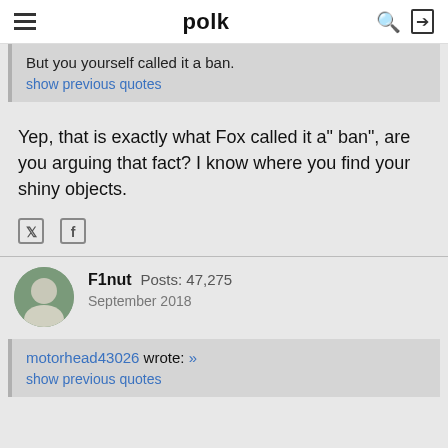polk
But you yourself called it a ban.
show previous quotes
Yep, that is exactly what Fox called it a" ban", are you arguing that fact? I know where you find your shiny objects.
[Figure (other): Twitter and Facebook social share icons]
F1nut  Posts: 47,275
September 2018
motorhead43026 wrote: »
show previous quotes